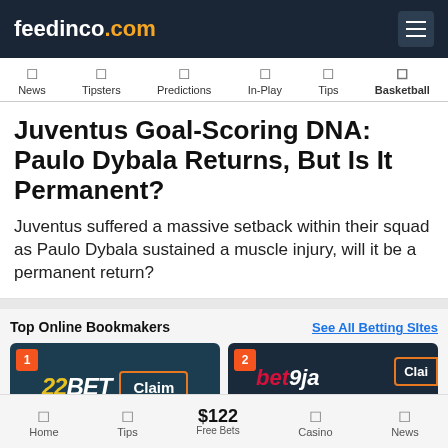feedinco.com
News | Tipsters | Predictions | In-Play | Tips | Basketball
Juventus Goal-Scoring DNA: Paulo Dybala Returns, But Is It Permanent?
Juventus suffered a massive setback within their squad as Paulo Dybala sustained a muscle injury, will it be a permanent return?
Top Online Bookmakers
See All Betting Sites
[Figure (screenshot): 22BET bookmaker card with Claim button, numbered badge 1]
[Figure (screenshot): bet9ja bookmaker card with partial Claim button and Top label, numbered badge 2]
Home | Tips | $122 Free Bets | Casino | News